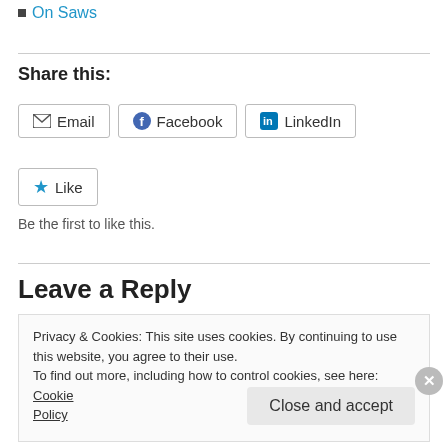On Saws
Share this:
[Figure (screenshot): Social share buttons: Email, Facebook, LinkedIn]
[Figure (screenshot): Like button with star icon]
Be the first to like this.
Leave a Reply
Privacy & Cookies: This site uses cookies. By continuing to use this website, you agree to their use. To find out more, including how to control cookies, see here: Cookie Policy
Close and accept